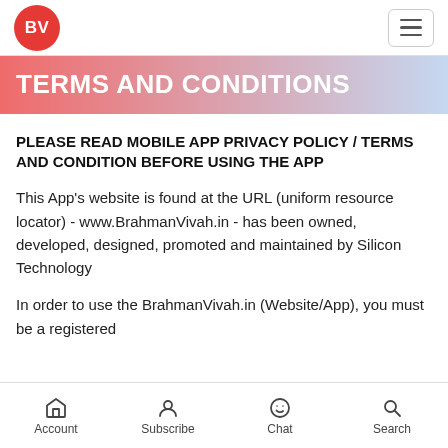BV
TERMS AND CONDITIONS
PLEASE READ MOBILE APP PRIVACY POLICY / TERMS AND CONDITION BEFORE USING THE APP
This App's website is found at the URL (uniform resource locator) - www.BrahmanVivah.in - has been owned, developed, designed, promoted and maintained by Silicon Technology
In order to use the BrahmanVivah.in (Website/App), you must be a registered
Account  Subscribe  Chat  Search